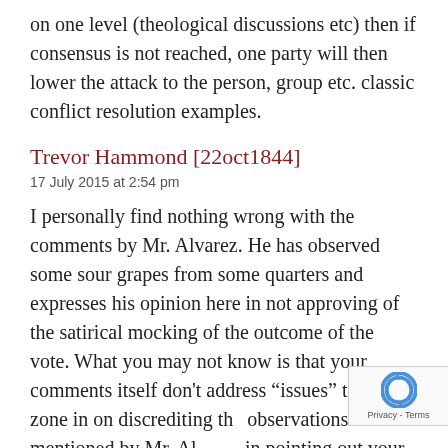on one level (theological discussions etc) then if consensus is not reached, one party will then lower the attack to the person, group etc. classic conflict resolution examples.
Trevor Hammond [22oct1844]
17 July 2015 at 2:54 pm
I personally find nothing wrong with the comments by Mr. Alvarez. He has observed some sour grapes from some quarters and expresses his opinion here in not approving of the satirical mocking of the outcome of the vote. What you may not know is that your comments itself don't address “issues” too but zone in on discrediting the observations mentioned by Mr. Al... in pointing out your opinion on w... Mr. Alvarez must say and how he should